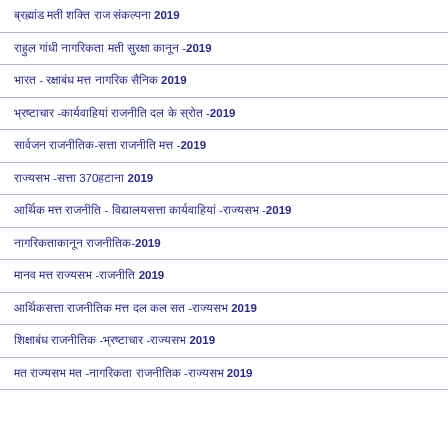ब्रह्मांड मती शक्ति राज संकल्पना 2019
राहुल गांधी नागरिकता मती सुरक्षा कानून -2019
भारत - रक्षाबंध मत्त नागरिक सैनिक 2019
भ्रष्टाचार -कार्यवाहियां राजनीति दल के स्रोत -2019
सार्वजन राजनीतिक-सत्ता राजनीति मत्त -2019
राज्यसभ -सत्ता 370हटाना 2019
आर्थिक मत्त राजनीति - विद्यालयसत्ता कार्यवाहियां -राज्यसभ -2019
नागरिकताकानून राजनीतिक-2019
मानव मत्त राज्यसभ -राजनीति 2019
आर्थिकसत्ता राजनीतिक मत्त दल कल सत -राज्यसभ 2019
शिक्षाबंध राजनीतिक -भ्रष्टाचार -राज्यसभ 2019
मत राज्यसभ मत -नागरिकता राजनीतिक -राज्यसभ 2019